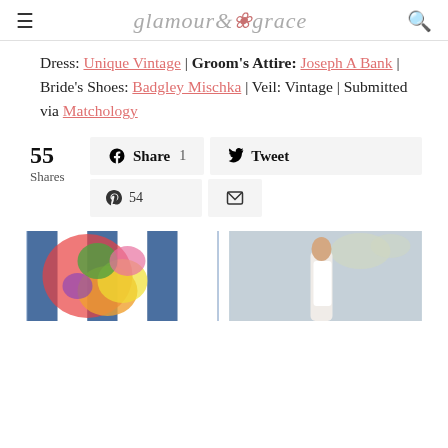glamour & grace
Dress: Unique Vintage | Groom's Attire: Joseph A Bank | Bride's Shoes: Badgley Mischka | Veil: Vintage | Submitted via Matchology
55 Shares — Share 1 | Tweet | Pinterest 54 | Email
[Figure (photo): Two side-by-side thumbnail photos: left shows colorful floral centerpiece on blue-striped tablecloth outdoors; right shows bride in white off-shoulder gown with updo against grey wall with greenery]